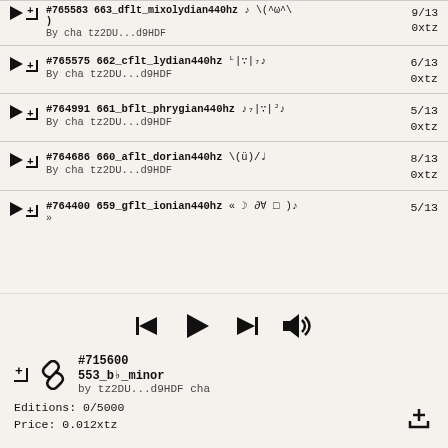#765583 663_dflt_mixolydian440hz ♪ \(^ω^\ ) By cha tz2DU...d9HDF 9/13 0xtz
#765575 662_cflt_lydian440hz ᴸ|∵|₇♪ By cha tz2DU...d9HDF 6/13 0xtz
#764991 661_bflt_phrygian440hz ♪₇|∵|ᴶ♪ By cha tz2DU...d9HDF 5/13 0xtz
#764686 660_aflt_dorian440hz \(ü)/♩ By cha tz2DU...d9HDF 8/13 0xtz
#764400 659_gflt_ionian440hz « ☽ ∂∀ □ )♪ By cha 5/13
#715600 553_bb_minor by tz2DU...d9HDF cha Editions: 0/5000 Price: 0.012xtz